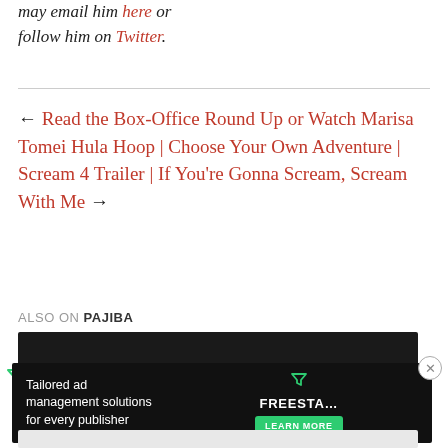may email him here or follow him on Twitter.
← Read the Box-Office Round Up or Watch Marisa Tomei Hula Hoop | Choose Your Own Adventure | Scream 4 Trailer | If You're Gonna Scream, Scream With Me →
ALSO ON PAJIBA
[Figure (screenshot): Dark image block and advertisement banner for Freestar ad management platform with 'Tailored ad management solutions for every publisher' text and Learn More button]